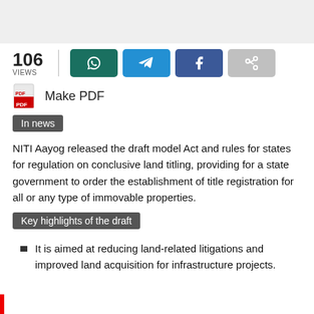106 VIEWS
Make PDF
In news
NITI Aayog released the draft model Act and rules for states for regulation on conclusive land titling, providing for a state government to order the establishment of title registration for all or any type of immovable properties.
Key highlights of the draft
It is aimed at reducing land-related litigations and improved land acquisition for infrastructure projects.